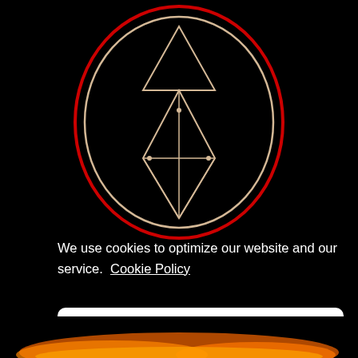[Figure (logo): Circular logo with red outer ring and cream/gold inner ring, containing geometric diamond/kite shapes forming stylized letters, on black background]
We use cookies to optimize our website and our service.  Cookie Policy
ACCEPT ALL
Discard
Preferences
[Figure (photo): Flames/fire image at the very bottom of the page, orange and gold tones]